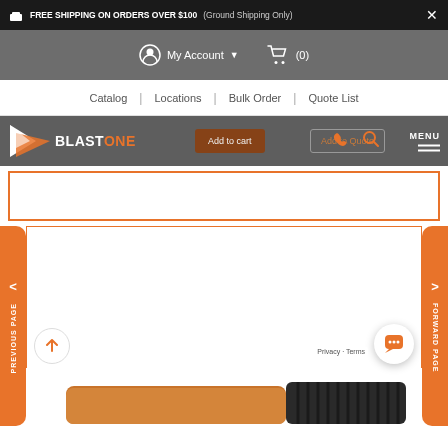FREE SHIPPING ON ORDERS OVER $100 (Ground Shipping Only)
My Account (0)
Catalog | Locations | Bulk Order | Quote List
[Figure (logo): BlastOne logo with orange and white triangular chevron and BLASTONE text]
Add to cart
Add to Quote
MENU
PREVIOUS PAGE
FORWARD PAGE
[Figure (photo): Partial view of an orange and black industrial tool/handle at bottom of page]
Privacy · Terms